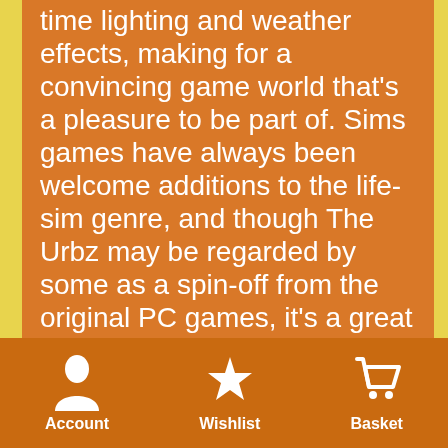time lighting and weather effects, making for a convincing game world that's a pleasure to be part of. Sims games have always been welcome additions to the life-sim genre, and though The Urbz may be regarded by some as a spin-off from the original PC games, it's a great addition to the series.
Account   Wishlist   Basket